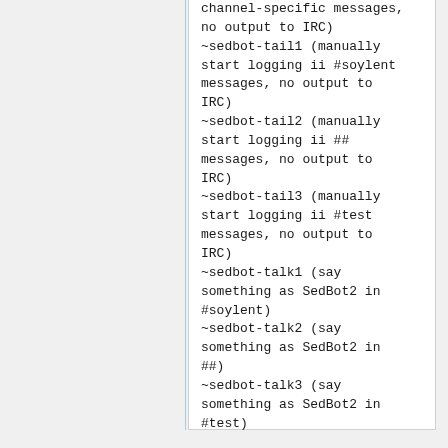channel-specific messages, no output to IRC)
~sedbot-tail1 (manually start logging ii #soylent messages, no output to IRC)
~sedbot-tail2 (manually start logging ii ## messages, no output to IRC)
~sedbot-tail3 (manually start logging ii #test messages, no output to IRC)
~sedbot-talk1 (say something as SedBot2 in #soylent)
~sedbot-talk2 (say something as SedBot2 in ##)
~sedbot-talk3 (say something as SedBot2 in #test)